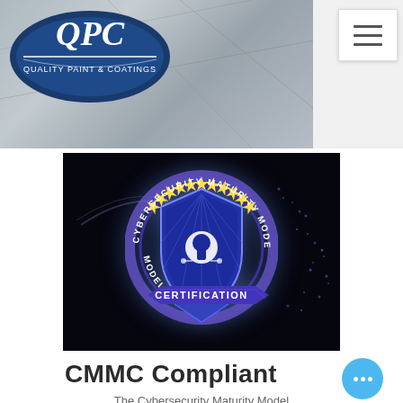[Figure (screenshot): QPC Quality Paint & Coatings logo on grey metal panel background with hamburger menu button in top right]
[Figure (screenshot): Cybersecurity Maturity Model Certification (CMMC) badge/seal on dark background with digital effects — blue shield with keyhole, stars, and CERTIFICATION text ribbon]
CMMC Compliant
The Cybersecurity Maturity Model